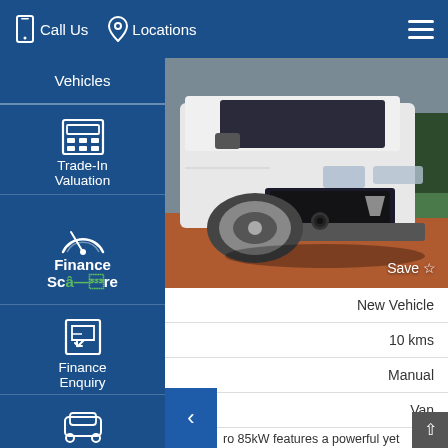Call Us   Locations
Vehicles
Trade-In Valuation
Finance Score
Finance Enquiry
Test Drive
Click To Buy
[Figure (photo): White Renault Trafic van photographed from the front-left angle on red/brown dirt surface. The vehicle shows the Renault diamond logo on the grille. A green structure is visible in the background.]
Save ☆
New Vehicle
10 kms
Manual
Van
This 2022 Renault Trafic is ready for work or play ...ro 85kW features a powerful yet economical 1.6ft